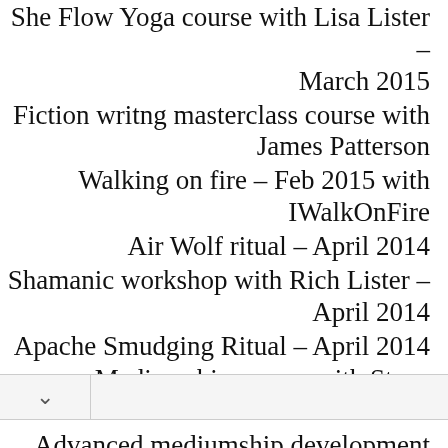She Flow Yoga course with Lisa Lister – March 2015
Fiction writng masterclass course with James Patterson
Walking on fire – Feb 2015 with IWalkOnFire
Air Wolf ritual – April 2014
Shamanic workshop with Rich Lister – April 2014
Apache Smudging Ritual – April 2014
Mediumship course with Steve Bradshaw
Advanced mediumship development